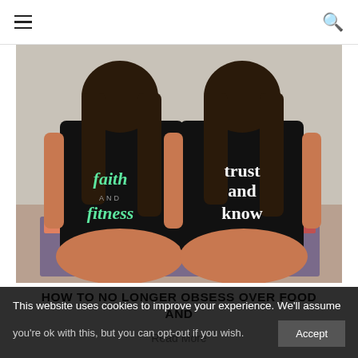Navigation header with hamburger menu and search icon
[Figure (photo): Two young women sitting cross-legged on the floor, both wearing black tank tops. The left shirt reads 'faith and fitness' and the right shirt reads 'trust and know'. Both have long dark hair.]
HOW TO NO LONGER OBSESS OVER FOOD AND
Read More
This website uses cookies to improve your experience. We'll assume you're ok with this, but you can opt-out if you wish.